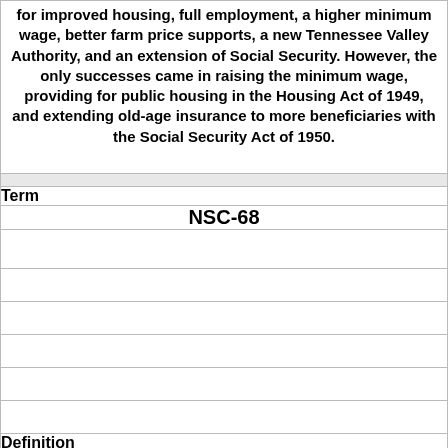for improved housing, full employment, a higher minimum wage, better farm price supports, a new Tennessee Valley Authority, and an extension of Social Security. However, the only successes came in raising the minimum wage, providing for public housing in the Housing Act of 1949, and extending old-age insurance to more beneficiaries with the Social Security Act of 1950.
Term
NSC-68
Definition